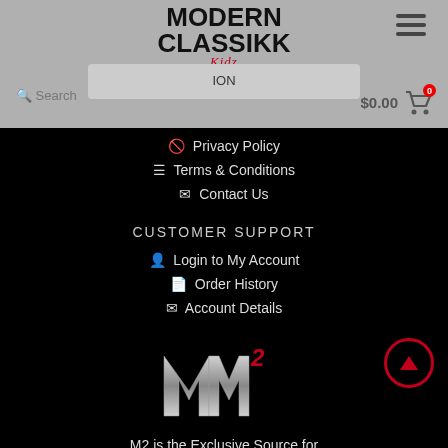MODERN CLASSIKK Kidz
Privacy Policy
Terms & Conditions
Contact Us
CUSTOMER SUPPORT
Login to My Account
Order History
Account Details
[Figure (logo): M2 logo with stylized M and red superscript 2]
M2 is the Exclusive Source for Modern Classikk
© Copyright 2021 M2 Supply. All Rights Reserved